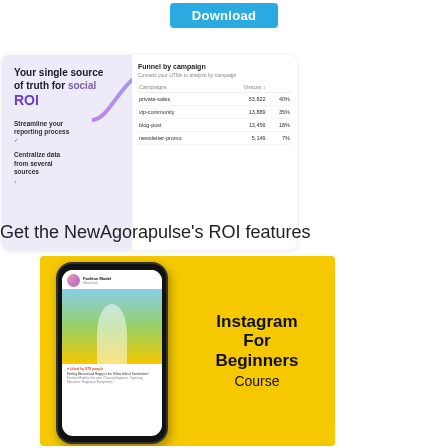[Figure (screenshot): Download button in blue/cyan color at the top of the page]
[Figure (screenshot): Dashboard screenshot showing 'Your single source of truth for social ROI' with campaign table listing private-sales, vip-community, blog-post, newsletter-promo with visitor counts and percentages, and a colorful wave graphic]
Get the NewAgorapulse's ROI features
[Figure (illustration): Yellow background promotional image for 'Instagram For Beginners Course' showing a hand holding a smartphone with an Instagram post of a girl in a flower field]